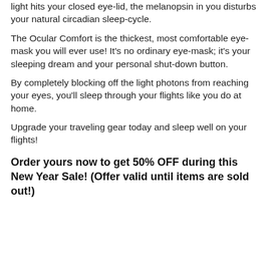light hits your closed eye-lid, the melanopsin in you disturbs your natural circadian sleep-cycle.
The Ocular Comfort is the thickest, most comfortable eye-mask you will ever use! It's no ordinary eye-mask; it's your sleeping dream and your personal shut-down button.
By completely blocking off the light photons from reaching your eyes, you'll sleep through your flights like you do at home.
Upgrade your traveling gear today and sleep well on your flights!
Order yours now to get 50% OFF during this New Year Sale! (Offer valid until items are sold out!)